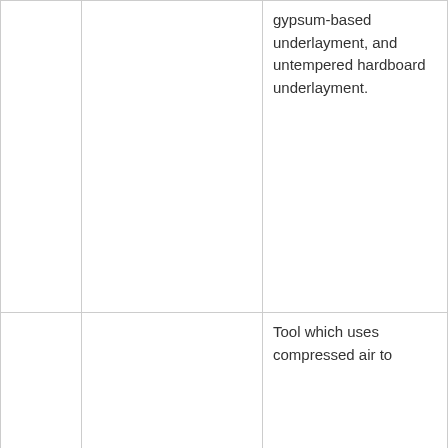|  |  | gypsum-based underlayment, and untempered hardboard underlayment. |
|  |  | Tool which uses compressed air to |
[Figure (screenshot): Cookie consent modal overlay with title 'Your cookie options', text 'We use cookies to improve your experience', a 'Learn more' link, and a 'Dismiss' button. A pink horizontal line appears above the modal. Partial table text visible to the right: 'o', 'olls', 'all.']